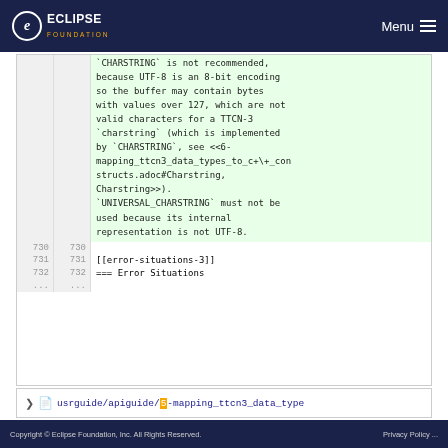Eclipse Foundation — Menu
| line1 | line2 | code |
| --- | --- | --- |
|  |  | `CHARSTRING` is not recommended, because UTF-8 is an 8-bit encoding so the buffer may contain bytes with values over 127, which are not valid characters for a TTCN-3 `charstring` (which is implemented by `CHARSTRING`, see <<6-mapping_ttcn3_data_types_to_c+\+_constructs.adoc#Charstring, Charstring>>). |
|  |  | `UNIVERSAL_CHARSTRING` must not be used because its internal representation is not UTF-8. |
| 730 | 730 |  |
| 731 | 731 | [[error-situations-3]] |
| 732 | 732 | === Error Situations |
| ... | ... |  |
usrguide/apiguide/5-mapping_ttcn3_data_type
Copyright © Eclipse Foundation, Inc. All Rights Reserved.    Privacy Policy ...